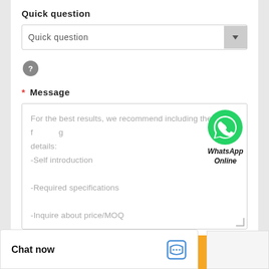Quick question
[Figure (screenshot): Dropdown selector showing 'Quick question' with a grey arrow button on the right]
[Figure (other): Grey circular help/question mark icon]
* Message
For the best results, we recommend including the following details:
-Self introduction
-Required specifications
-Inquire about price/MOQ
[Figure (logo): WhatsApp green phone icon with label 'WhatsApp Online']
Send Now
Chat now